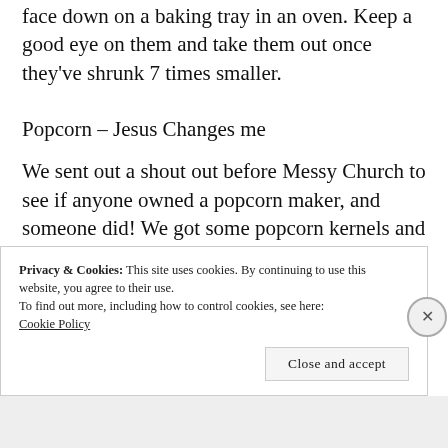face down on a baking tray in an oven. Keep a good eye on them and take them out once they've shrunk 7 times smaller.
Popcorn – Jesus Changes me
We sent out a shout out before Messy Church to see if anyone owned a popcorn maker, and someone did! We got some popcorn kernels and got the families to help
Privacy & Cookies: This site uses cookies. By continuing to use this website, you agree to their use.
To find out more, including how to control cookies, see here: Cookie Policy
Close and accept